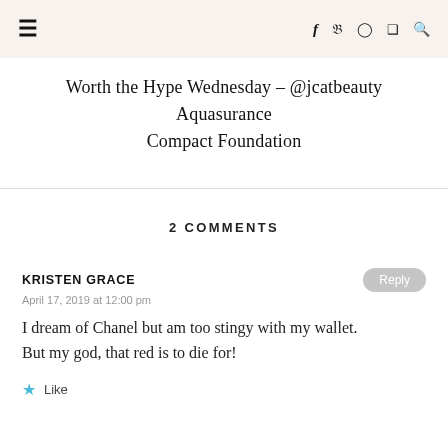≡  f  twitter  instagram  pinterest  search
Worth the Hype Wednesday – @jcatbeauty Aquasurance Compact Foundation
2 COMMENTS
KRISTEN GRACE
April 17, 2019 at 12:00 pm
I dream of Chanel but am too stingy with my wallet. But my god, that red is to die for!
Like